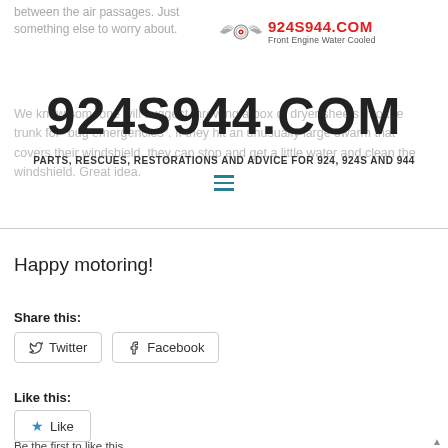between the air passages. Just something else to worry about.
[Figure (logo): 924S944.COM logo with winged wheel icon, site name in red, tagline 'Front Engine Water Cooled']
924S944.COM
PARTS, RESCUES, RESTORATIONS AND ADVICE FOR 924, 924S AND 944
We know someone will suggest throwing a box of dryer sheets into the trunk for "bug emergencies". If they hit an unusually large swarm that covers their windshield, they can stop and get a little water and clean the windshield. Great idea.
Happy motoring!
Share this:
Twitter   Facebook
Like this:
Like
Be the first to like this.